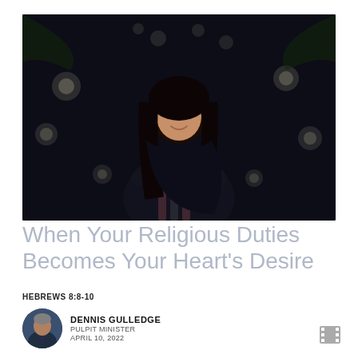[Figure (photo): Young woman smiling, holding a heart-shaped light against a dark bokeh background]
When Your Religious Duties Becomes Your Heart's Desire
HEBREWS 8:8-10
[Figure (photo): Circular portrait photo of Dennis Gulledge, a man in a suit]
DENNIS GULLEDGE
PULPIT MINISTER
APRIL 10, 2022